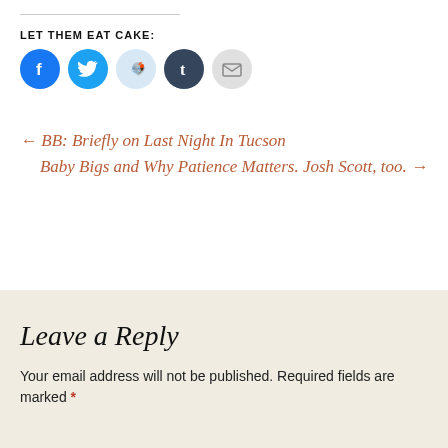LET THEM EAT CAKE:
[Figure (illustration): Social share icons: Facebook (blue circle), Twitter (light blue circle), Reddit (pale blue circle), Tumblr (dark navy circle), Email (light grey circle)]
← BB: Briefly on Last Night In Tucson
Baby Bigs and Why Patience Matters. Josh Scott, too. →
Leave a Reply
Your email address will not be published. Required fields are marked *